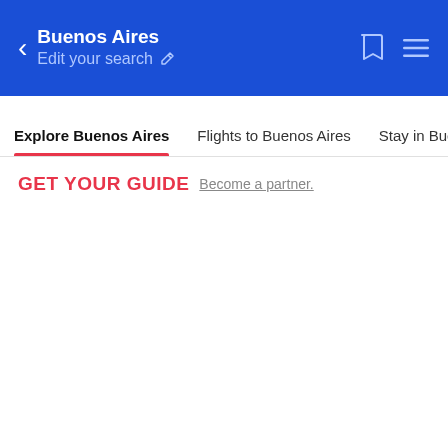Buenos Aires / Edit your search
Explore Buenos Aires | Flights to Buenos Aires | Stay in Buenos A...
GET YOUR GUIDE  Become a partner.